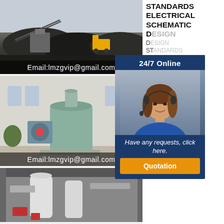[Figure (photo): Mining/crushing operation with machinery and coal piles outdoors, with email overlay 'Email:lmzgvip@gmail.com']
[Figure (photo): Industrial mill/crusher machine in a factory building, with email overlay 'Email:lmzgvip@gmail.com']
[Figure (photo): Industrial facility interior with large cylindrical equipment and ductwork]
[Figure (infographic): 24/7 Online chat widget with customer service representative photo, 'Have any requests, click here.' text and 'Quotation' button]
STANDARDS ELECTRICAL SCHEMATIC DESIGN
DESIGN
STANDARDS
ELECTRICAL
SCHEMATIC
hammer crusher installation
hswcdorg
hammer crusher installation
Converting the HiTorque Mini Mill to CNC
Converting the